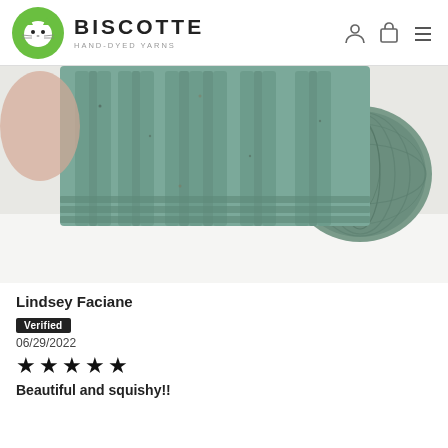BISCOTTE HAND-DYED YARNS
[Figure (photo): A cable-knit hat in sage/teal green yarn displayed on a white fluffy surface next to a skein of matching green hand-dyed yarn]
Lindsey Faciane
Verified
06/29/2022
★★★★★
Beautiful and squishy!!